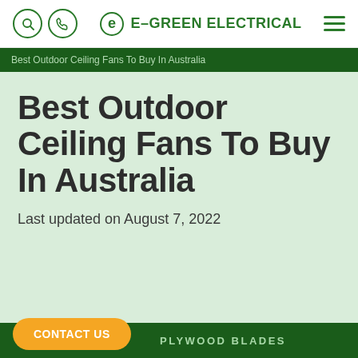E-GREEN ELECTRICAL
Best Outdoor Ceiling Fans To Buy In Australia
Best Outdoor Ceiling Fans To Buy In Australia
Last updated on August 7, 2022
CONTACT US
PLYWOOD BLADES